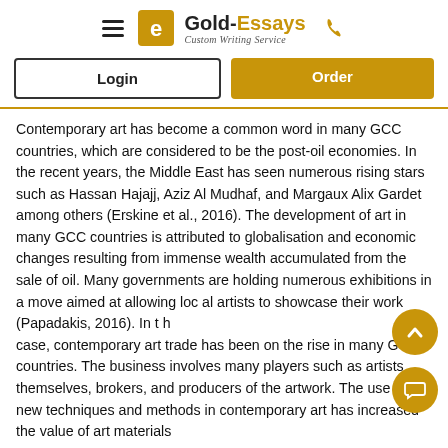[Figure (logo): Gold-Essays Custom Writing Service logo with hamburger menu icon and phone icon]
[Figure (other): Login and Order buttons row]
Contemporary art has become a common word in many GCC countries, which are considered to be the post-oil economies. In the recent years, the Middle East has seen numerous rising stars such as Hassan Hajajj, Aziz Al Mudhaf, and Margaux Alix Gardet among others (Erskine et al., 2016). The development of art in many GCC countries is attributed to globalisation and economic changes resulting from immense wealth accumulated from the sale of oil. Many governments are holding numerous exhibitions in a move aimed at allowing local artists to showcase their work (Papadakis, 2016). In this case, contemporary art trade has been on the rise in many GCC countries. The business involves many players such as artists themselves, brokers, and producers of the artwork. The use of new techniques and methods in contemporary art has increased the value of art materials